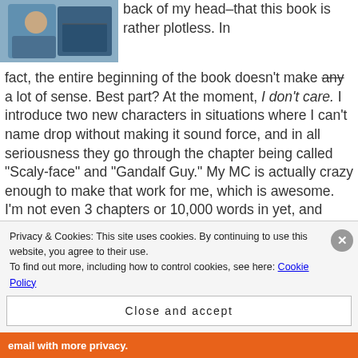[Figure (photo): Photo of a person working on a laptop, cropped in upper left]
back of my head–that this book is rather plotless. In fact, the entire beginning of the book doesn't make any a lot of sense. Best part? At the moment, I don't care. I introduce two new characters in situations where I can't name drop without making it sound force, and in all seriousness they go through the chapter being called "Scaly-face" and "Gandalf Guy." My MC is actually crazy enough to make that work for me, which is awesome. I'm not even 3 chapters or 10,000 words in yet, and she's already referenced
Privacy & Cookies: This site uses cookies. By continuing to use this website, you agree to their use. To find out more, including how to control cookies, see here: Cookie Policy
Close and accept